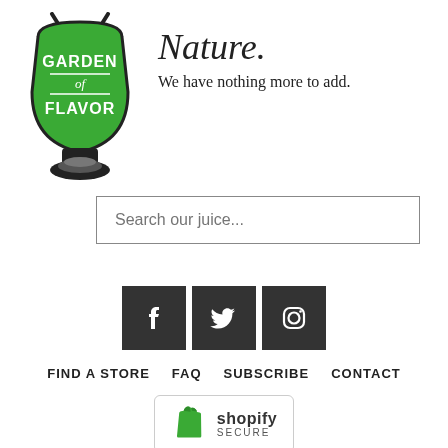[Figure (logo): Garden of Flavor logo — green hot-air balloon / juicer shape with white text GARDEN of FLAVOR, black outline]
Nature.
We have nothing more to add.
Search our juice...
[Figure (illustration): Social media icons: Facebook, Twitter, Instagram — white icons on dark square backgrounds]
FIND A STORE
FAQ
SUBSCRIBE
CONTACT
[Figure (logo): Shopify Secure badge — green Shopify bag logo, text shopify SECURE, inside a rounded rectangle border]